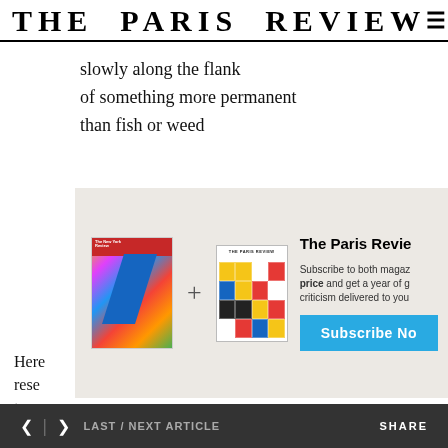THE PARIS REVIEW
slowly along the flank
of something more permanent
than fish or weed
[Figure (other): Subscription promotion box showing New York Review of Books cover and The Paris Review cover with a plus sign between them, along with text 'The Paris Review' and a 'Subscribe Now' button]
Here research treas she d into m major aim of her work as a poet. But perhaps it hasn't yet been clearly enough understood how crucially her
< > LAST / NEXT ARTICLE    SHARE